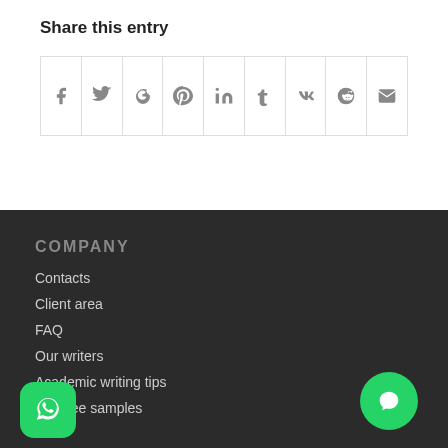Share this entry
[Figure (infographic): Social media sharing buttons grid: Facebook, Twitter, Google+, Pinterest, LinkedIn, Tumblr, VK, Reddit, Email]
COMPANY
Contacts
Client area
FAQ
Our writers
Academic writing tips
Our free samples